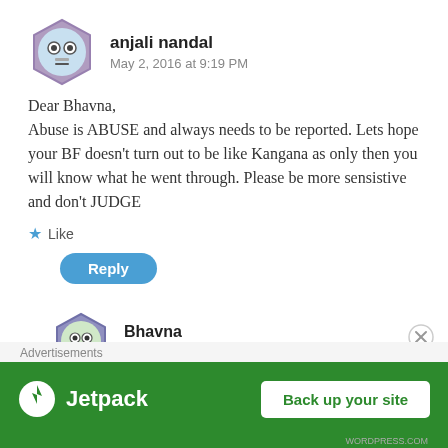[Figure (illustration): Avatar icon of anjali nandal — purple hexagon frame with cartoon face]
anjali nandal
May 2, 2016 at 9:19 PM
Dear Bhavna,
Abuse is ABUSE and always needs to be reported. Lets hope your BF doesn't turn out to be like Kangana as only then you will know what he went through. Please be more sensistive and don't JUDGE
★ Like
Reply
[Figure (illustration): Avatar icon of Bhavna — purple hexagon frame with cartoon face]
Bhavna
May 3, 2016 at 1:45 PM
Dear Anjali,
Advertisements
[Figure (other): Jetpack advertisement banner — green background with Jetpack logo and 'Back up your site' button]